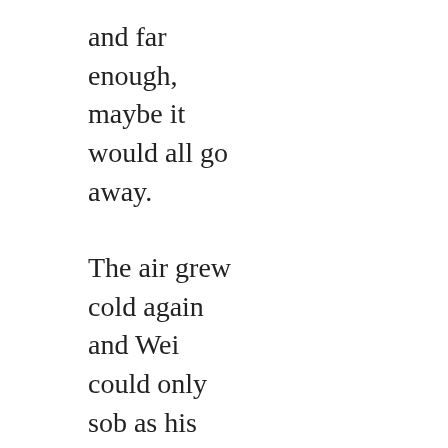and far
enough,
maybe it
would all go
away.

The air grew
cold again
and Wei
could only
sob as his
dying lungs
struggled for
air. His eyes
showed white